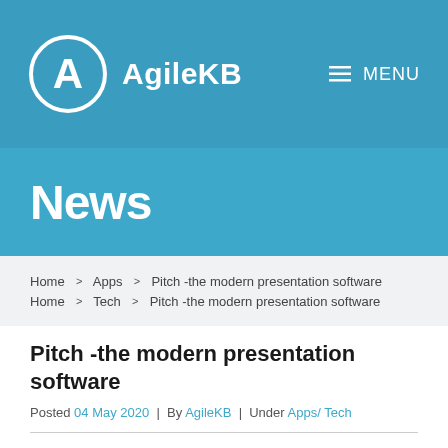AgileKB | MENU
News
Home > Apps > Pitch -the modern presentation software
Home > Tech > Pitch -the modern presentation software
Pitch -the modern presentation software
Posted 04 May 2020 | By AgileKB | Under Apps/ Tech
The world is changing faster than ever. And for the most part, business software has kept pace.